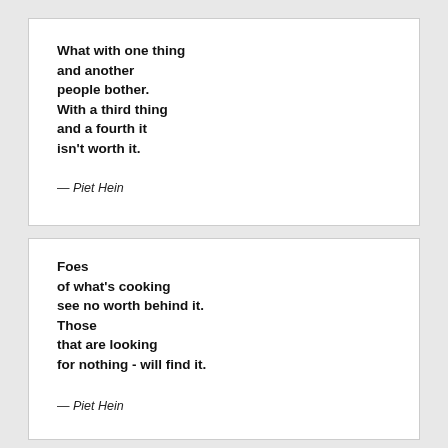What with one thing
and another
people bother.
With a third thing
and a fourth it
isn't worth it.
— Piet Hein
Foes
of what's cooking
see no worth behind it.
Those
that are looking
for nothing - will find it.
— Piet Hein